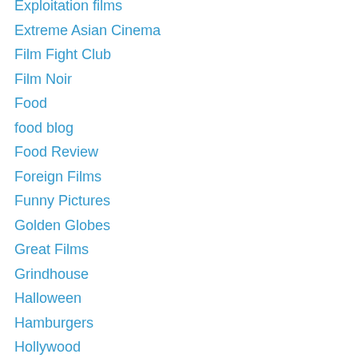Exploitation films
Extreme Asian Cinema
Film Fight Club
Film Noir
Food
food blog
Food Review
Foreign Films
Funny Pictures
Golden Globes
Great Films
Grindhouse
Halloween
Hamburgers
Hollywood
Horror films
Independent Cinema
Italy
James Caan
Japan